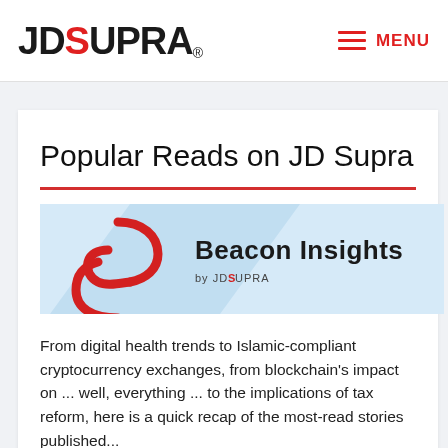JD SUPRA® MENU
Popular Reads on JD Supra
[Figure (logo): Beacon Insights by JDSUPRA logo banner with red S icon and light blue background]
From digital health trends to Islamic-compliant cryptocurrency exchanges, from blockchain's impact on ... well, everything ... to the implications of tax reform, here is a quick recap of the most-read stories published...